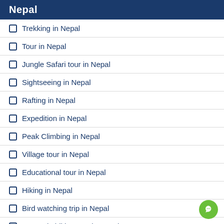Nepal
Trekking in Nepal
Tour in Nepal
Jungle Safari tour in Nepal
Sightseeing in Nepal
Rafting in Nepal
Expedition in Nepal
Peak Climbing in Nepal
Village tour in Nepal
Educational tour in Nepal
Hiking in Nepal
Bird watching trip in Nepal
Mountain biking tour in Nepal
Nepal Mountain flight tour
Vehicle Rental in Nepal
Day Tours in Nepal